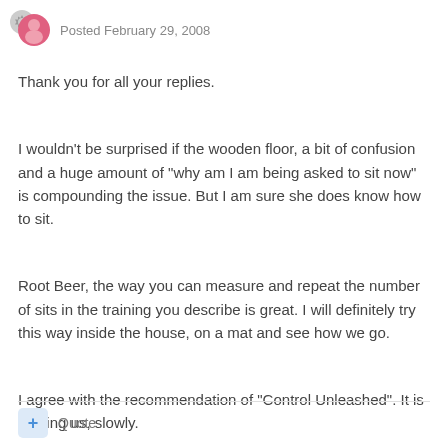Posted February 29, 2008
Thank you for all your replies.
I wouldn't be surprised if the wooden floor, a bit of confusion and a huge amount of "why am I am being asked to sit now" is compounding the issue. But I am sure she does know how to sit.
Root Beer, the way you can measure and repeat the number of sits in the training you describe is great. I will definitely try this way inside the house, on a mat and see how we go.
I agree with the recommendation of "Control Unleashed". It is helping us, slowly.